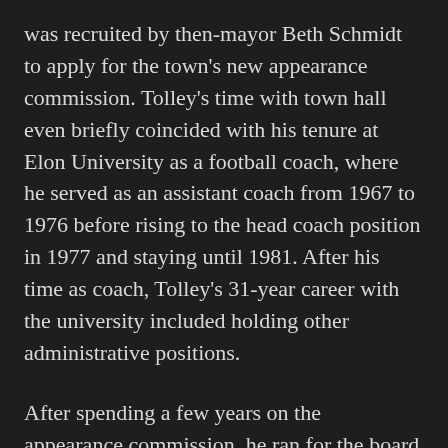was recruited by then-mayor Beth Schmidt to apply for the town's new appearance commission. Tolley's time with town hall even briefly coincided with his tenure at Elon University as a football coach, where he served as an assistant coach from 1967 to 1976 before rising to the head coach position in 1977 and staying until 1981. After his time as coach, Tolley's 31-year career with the university included holding other administrative positions.
After spending a few years on the appearance commission, he ran for the board of aldermen, served six years, then served as mayor for two terms.